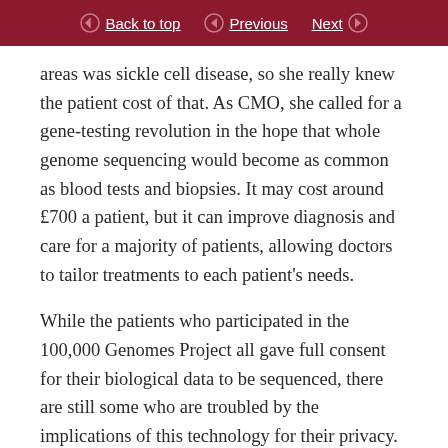Back to top  Previous  Next
areas was sickle cell disease, so she really knew the patient cost of that. As CMO, she called for a gene-testing revolution in the hope that whole genome sequencing would become as common as blood tests and biopsies. It may cost around £700 a patient, but it can improve diagnosis and care for a majority of patients, allowing doctors to tailor treatments to each patient's needs.
While the patients who participated in the 100,000 Genomes Project all gave full consent for their biological data to be sequenced, there are still some who are troubled by the implications of this technology for their privacy. Dame Sally has always said that the data can be stored securely and anonymised, but I well appreciate this point. One of